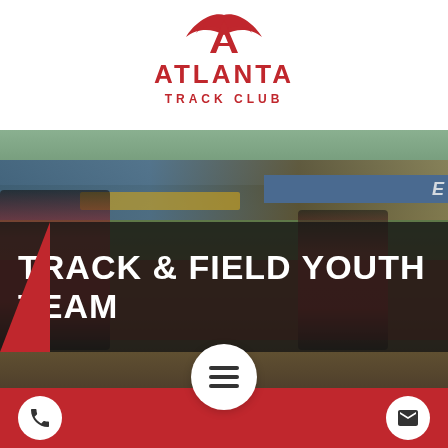[Figure (logo): Atlanta Track Club logo — stylized red winged letter A above bold red text reading ATLANTA TRACK CLUB]
[Figure (photo): Two young athletes in red Atlanta Track Club uniforms passing a baton on a red running track, spectators and blue signage in background]
TRACK & FIELD YOUTH TEAM